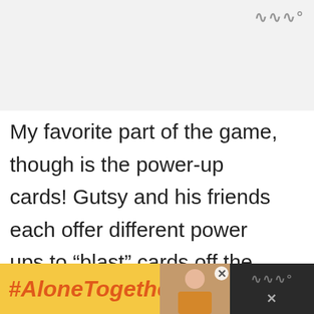[Figure (photo): Light gray banner/image placeholder area at the top of the page with a Wemo-style logo icon (three wavy lines and degree symbol) in the upper right corner.]
My favorite part of the game, though is the power-up cards! Gutsy and his friends each offer different power ups to “blast” cards off the screen in a single shot. You can see them hiding behind regular cards. Just clear away the cards blocking them
[Figure (infographic): Bottom advertisement bar with orange #AloneTogether hashtag text on yellow background, a photo of a woman cooking, a close button X, and a dark panel with Wemo logo and X button.]